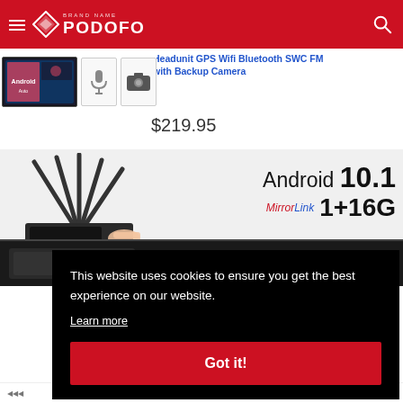[Figure (screenshot): Podofo website header with red background, hamburger menu, diamond logo, PODOFO brand name, and search icon]
[Figure (screenshot): Product thumbnails: main car stereo unit showing Android Auto interface, microphone icon, and backup camera icon]
Headunit GPS Wifi Bluetooth SWC FM with Backup Camera
$219.95
[Figure (photo): Car stereo head unit with antennas extended, hand touching it. Text overlay shows Android 10.1, MirrorLink, 1+16G]
This website uses cookies to ensure you get the best experience on our website.
Learn more
Got it!